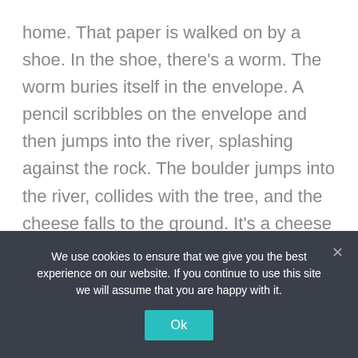home. That paper is walked on by a shoe. In the shoe, there's a worm. The worm buries itself in the envelope. A pencil scribbles on the envelope and then jumps into the river, splashing against the rock. The boulder jumps into the river, collides with the tree, and the cheese falls to the ground. It's a cheese tree, after all. When the cheese cracks, a $1 note slips out.
He's taken 15 different things and created linkages between them that make it very simple for the human brain to remember.
We use cookies to ensure that we give you the best experience on our website. If you continue to use this site we will assume that you are happy with it.